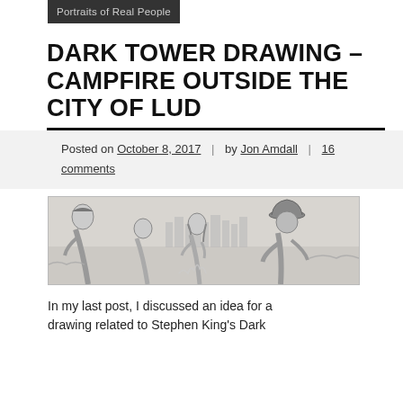Portraits of Real People
DARK TOWER DRAWING – CAMPFIRE OUTSIDE THE CITY OF LUD
Posted on October 8, 2017 | by Jon Amdall | 16 comments
[Figure (illustration): Pencil sketch of a campfire scene with four figures — a man on the left, a boy in the middle-left, a woman in the middle-right, and a cowboy with a hat on the right, with a city skyline in the background.]
In my last post, I discussed an idea for a drawing related to Stephen King's Dark